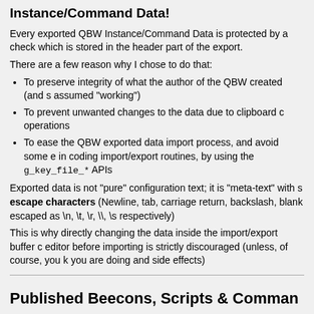Instance/Command Data!
Every exported QBW Instance/Command Data is protected by a check which is stored in the header part of the export.
There are a few reason why I chose to do that:
To preserve integrity of what the author of the QBW created (and s assumed "working")
To prevent unwanted changes to the data due to clipboard c operations
To ease the QBW exported data import process, and avoid some e in coding import/export routines, by using the g_key_file_* APIs
Exported data is not "pure" configuration text; it is "meta-text" with s escape characters (Newline, tab, carriage return, backslash, blank escaped as \n, \t, \r, \\, \s respectively)
This is why directly changing the data inside the import/export buffer c editor before importing is strictly discouraged (unless, of course, you k you are doing and side effects)
Published Beecons, Scripts & Comman
Beecons